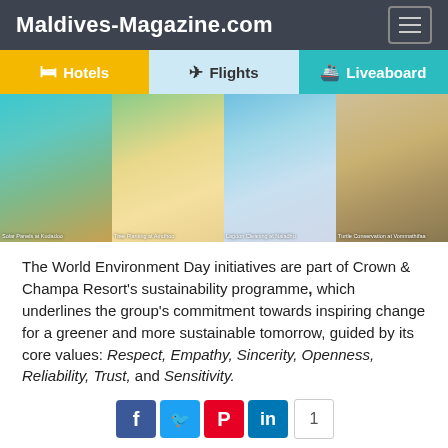Maldives-Magazine.com
[Figure (screenshot): Navigation tabs showing Hotels, Flights, and Liveaboard options]
[Figure (photo): Four-panel photo strip showing: Solar Panels at Kudadoo, Tree Planting at Amdhoo, Lagoon Cleaning at Naladhu, Turtle Conservation at Vommathifaa]
The World Environment Day initiatives are part of Crown & Champa Resort's sustainability programme, which underlines the group's commitment towards inspiring change for a greener and more sustainable tomorrow, guided by its core values: Respect, Empathy, Sincerity, Openness, Reliability, Trust, and Sensitivity.
Catering to every purpose of travel, Crown & Champa